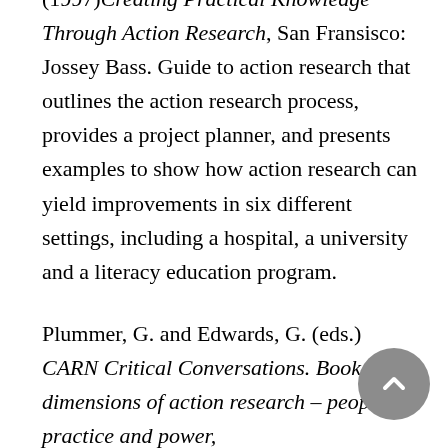(1997)Creating Practical Knowledge Through Action Research, San Fransisco: Jossey Bass. Guide to action research that outlines the action research process, provides a project planner, and presents examples to show how action research can yield improvements in six different settings, including a hospital, a university and a literacy education program.
Plummer, G. and Edwards, G. (eds.) CARN Critical Conversations. Book two: dimensions of action research – people, practice and power,